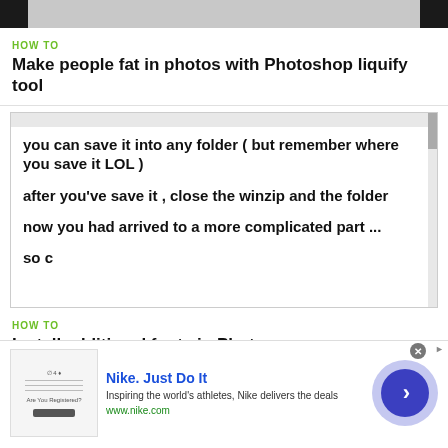[Figure (screenshot): Top navigation bar with black blocks on left and right ends and gray center area]
HOW TO
Make people fat in photos with Photoshop liquify tool
[Figure (screenshot): Screenshot of a tutorial page showing text: 'you can save it into any folder ( but remember where you save it LOL )' and 'after you've save it , close the winzip and the folder' and 'now you had arrived to a more complicated part ...' and 'so c' (cut off)]
HOW TO
Install additional fonts in Photoscape
[Figure (infographic): Nike advertisement banner: Nike. Just Do It - Inspiring the world's athletes, Nike delivers the deals - www.nike.com - with a blue circular arrow button]